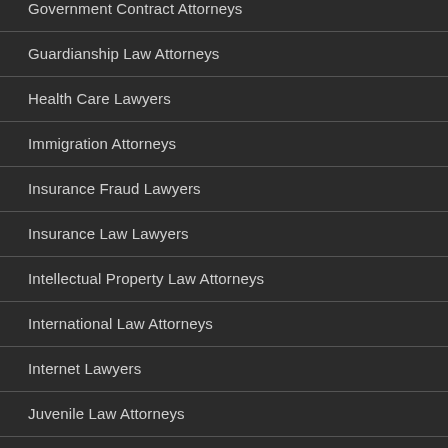Government Contract Attorneys
Guardianship Law Attorneys
Health Care Lawyers
Immigration Attorneys
Insurance Fraud Lawyers
Insurance Law Lawyers
Intellectual Property Law Attorneys
International Law Attorneys
Internet Lawyers
Juvenile Law Attorneys
Land Use / Zoning Attorneys
Landlord / Tenant Lawyers